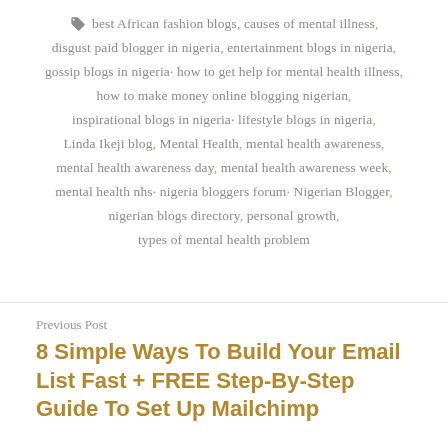best African fashion blogs, causes of mental illness, disgust paid blogger in nigeria, entertainment blogs in nigeria, gossip blogs in nigeria, how to get help for mental health illness, how to make money online blogging nigerian, inspirational blogs in nigeria, lifestyle blogs in nigeria, Linda Ikeji blog, Mental Health, mental health awareness, mental health awareness day, mental health awareness week, mental health nhs, nigeria bloggers forum, Nigerian Blogger, nigerian blogs directory, personal growth, types of mental health problem
Previous Post
8 Simple Ways To Build Your Email List Fast + FREE Step-By-Step Guide To Set Up Mailchimp